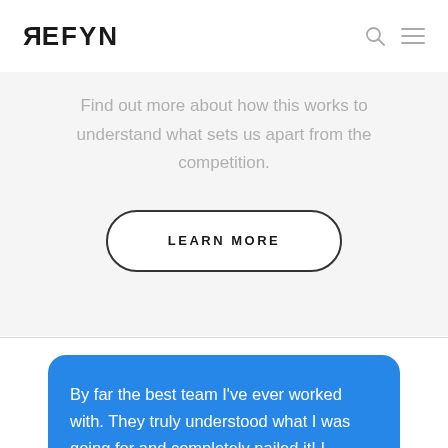REFYN
Find out more about how this works to understand what sets us apart from the competition.
LEARN MORE
By far the best team I've ever worked with. They truly understood what I was going for and completely nailed it! I